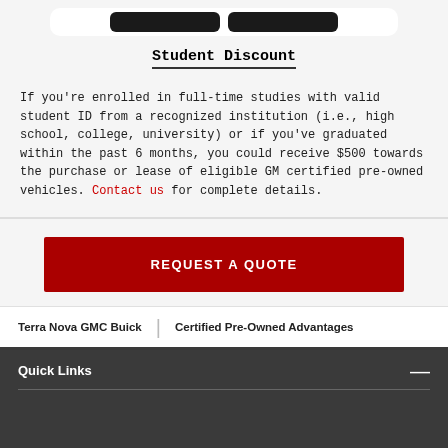[Figure (other): Two dark rounded button shapes on a white rounded card]
Student Discount
If you're enrolled in full-time studies with valid student ID from a recognized institution (i.e., high school, college, university) or if you've graduated within the past 6 months, you could receive $500 towards the purchase or lease of eligible GM certified pre-owned vehicles. Contact us for complete details.
REQUEST A QUOTE
Terra Nova GMC Buick  |  Certified Pre-Owned Advantages
Quick Links